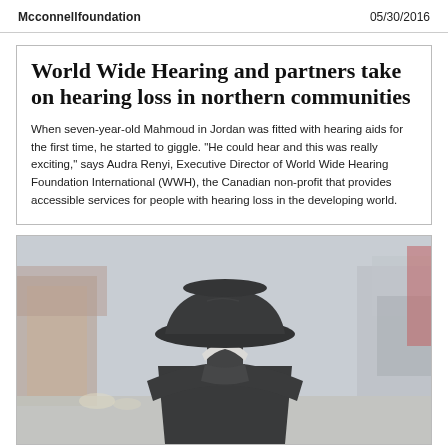Mcconnellfoundation    05/30/2016
World Wide Hearing and partners take on hearing loss in northern communities
When seven-year-old Mahmoud in Jordan was fitted with hearing aids for the first time, he started to giggle. "He could hear and this was really exciting," says Audra Renyi, Executive Director of World Wide Hearing Foundation International (WWH), the Canadian non-profit that provides accessible services for people with hearing loss in the developing world.
[Figure (photo): Back view of an elderly person wearing a black wide-brimmed hat and dark coat, standing on a city street with blurred buildings in the background.]